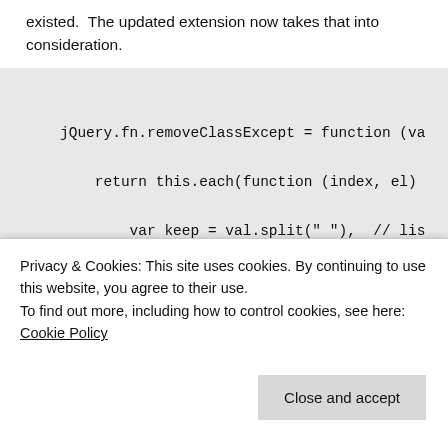existed.  The updated extension now takes that into consideration.
jQuery.fn.removeClassExcept = function (va
    return this.each(function (index, el)
        var keep = val.split(" "),  // lis
            reAdd = [],             // ones t
            $el = $(el);            // element

        // look for which we re-add (based
        for (var i = 0; i < keep.length; i
            .removeClass()
            /
Privacy & Cookies: This site uses cookies. By continuing to use this website, you agree to their use.
To find out more, including how to control cookies, see here: Cookie Policy